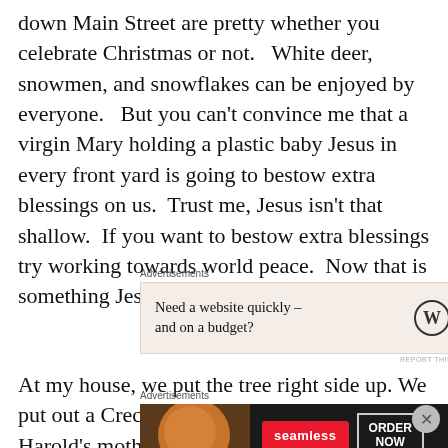down Main Street are pretty whether you celebrate Christmas or not.   White deer, snowmen, and snowflakes can be enjoyed by everyone.   But you can't convince me that a virgin Mary holding a plastic baby Jesus in every front yard is going to bestow extra blessings on us.  Trust me, Jesus isn't that shallow.  If you want to bestow extra blessings try working towards world peace.  Now that is something Jesus can get behind.
[Figure (other): WordPress advertisement: 'Need a website quickly – and on a budget?' with WordPress logo on beige background]
At my house, we put the tree right side up. We put out a Creche that was hand-painted by Harold's mother. There'
[Figure (other): Seamless food delivery advertisement with pizza image, Seamless logo button, and ORDER NOW button on dark background]